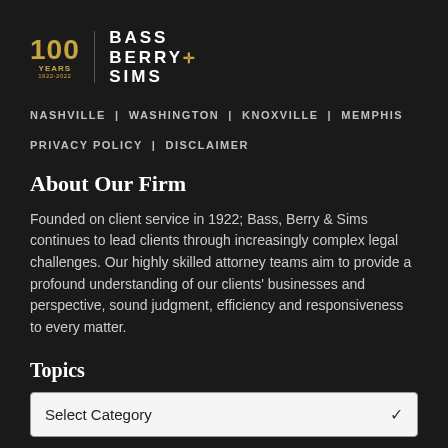[Figure (logo): Bass Berry & Sims law firm logo with '100 YEARS 1922-2022' centennial badge in gold and firm name in white letters]
NASHVILLE | WASHINGTON | KNOXVILLE | MEMPHIS
PRIVACY POLICY | DISCLAIMER
About Our Firm
Founded on client service in 1922; Bass, Berry & Sims continues to lead clients through increasingly complex legal challenges. Our highly skilled attorney teams aim to provide a profound understanding of our clients' businesses and perspective, sound judgment, efficiency and responsiveness to every matter.
Topics
Select Category
Archives